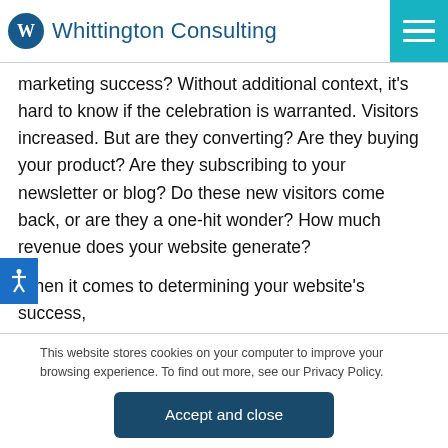Whittington Consulting
marketing success? Without additional context, it's hard to know if the celebration is warranted. Visitors increased. But are they converting? Are they buying your product? Are they subscribing to your newsletter or blog? Do these new visitors come back, or are they a one-hit wonder? How much revenue does your website generate?
When it comes to determining your website's success,
This website stores cookies on your computer to improve your browsing experience. To find out more, see our Privacy Policy.
Accept and close